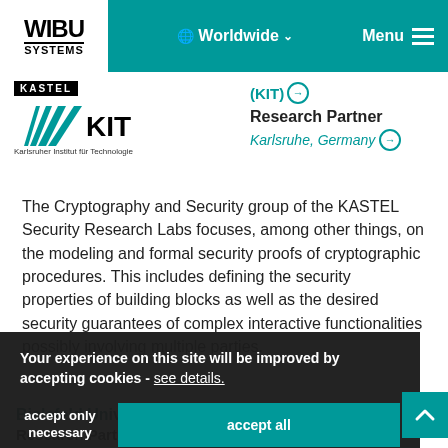[Figure (logo): WIBU SYSTEMS logo in navigation bar]
Worldwide  Menu
[Figure (logo): KASTEL and KIT (Karlsruher Institut für Technologie) logos]
(KIT) Research Partner Karlsruhe, Germany
The Cryptography and Security group of the KASTEL Security Research Labs focuses, among other things, on the modeling and formal security proofs of cryptographic procedures. This includes defining the security properties of building blocks as well as the desired security guarantees of complex interactive functionalities possibly involving multiple parties.
Your experience on this site will be improved by accepting cookies - see details.
accept only necessary
accept all
Bielefeld University Research Partner